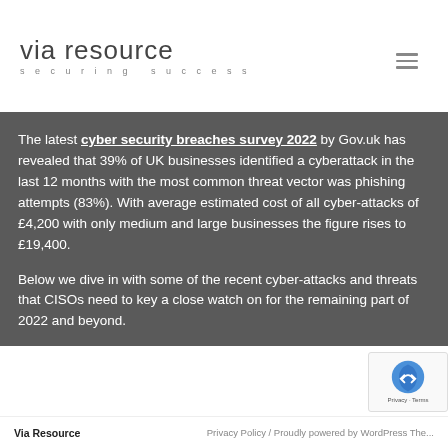via resource securing success
The latest cyber security breaches survey 2022 by Gov.uk has revealed that 39% of UK businesses identified a cyberattack in the last 12 months with the most common threat vector was phishing attempts (83%). With average estimated cost of all cyber-attacks of £4,200 with only medium and large businesses the figure rises to £19,400.
Below we dive in with some of the recent cyber-attacks and threats that CISOs need to key a close watch on for the remaining part of 2022 and beyond.
Via Resource   Privacy Policy / Proudly powered by WordPress The...